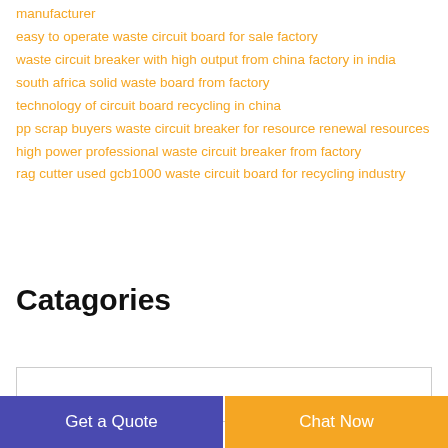manufacturer
easy to operate waste circuit board for sale factory
waste circuit breaker with high output from china factory in india
south africa solid waste board from factory
technology of circuit board recycling in china
pp scrap buyers waste circuit breaker for resource renewal resources
high power professional waste circuit breaker from factory
rag cutter used gcb1000 waste circuit board for recycling industry
Catagories
Get a Quote
Chat Now